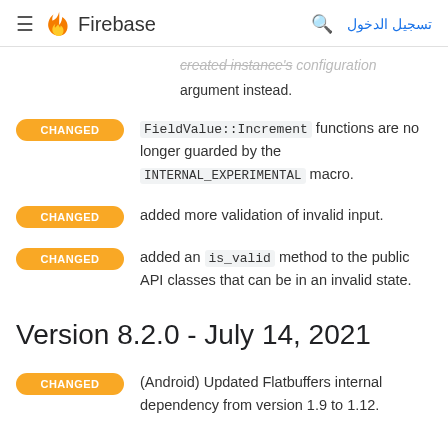Firebase — تسجيل الدخول
argument instead.
FieldValue::Increment functions are no longer guarded by the INTERNAL_EXPERIMENTAL macro.
added more validation of invalid input.
added an is_valid method to the public API classes that can be in an invalid state.
Version 8.2.0 - July 14, 2021
(Android) Updated Flatbuffers internal dependency from version 1.9 to 1.12.